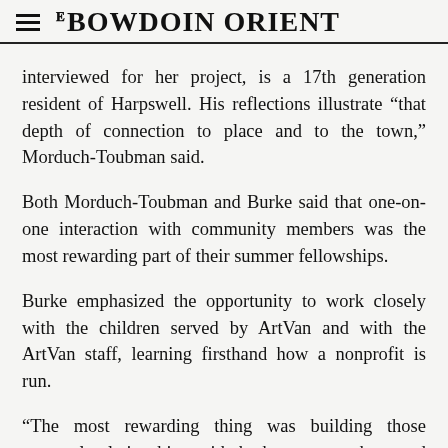THE BOWDOIN ORIENT
interviewed for her project, is a 17th generation resident of Harpswell. His reflections illustrate “that depth of connection to place and to the town,” Morduch-Toubman said.
Both Morduch-Toubman and Burke said that one-on-one interaction with community members was the most rewarding part of their summer fellowships.
Burke emphasized the opportunity to work closely with the children served by ArtVan and with the ArtVan staff, learning firsthand how a nonprofit is run.
“The most rewarding thing was building those personal relationships with both my coworkers and the kids,” said Burke. “The kids are just pretty amazing people and